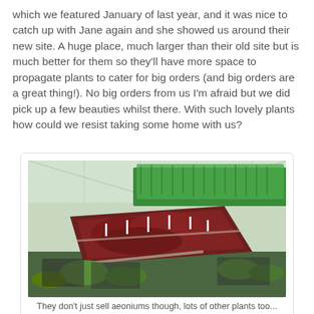which we featured January of last year, and it was nice to catch up with Jane again and she showed us around their new site. A huge place, much larger than their old site but is much better for them so they'll have more space to propagate plants to cater for big orders (and big orders are a great thing!). No big orders from us I'm afraid but we did pick up a few beauties whilst there. With such lovely plants how could we resist taking some home with us?
[Figure (photo): Greenhouse interior showing trays of small plants propagated in rows. Dark reddish-purple plants (likely aeoniums) in the center foreground, green grass-like plants in the background, and various other young plants in black trays on a green floor mat.]
They don't just sell aeoniums though, lots of other plants too...